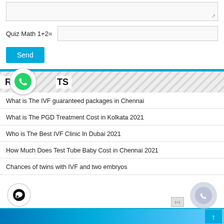Quiz Math 1+2=
Send
RECENT POSTS
What is The IVF guaranteed packages in Chennai
What is The PGD Treatment Cost in Kolkata 2021
Who is The Best IVF Clinic In Dubai 2021
How Much Does Test Tube Baby Cost in Chennai 2021
Chances of twins with IVF and two embryos